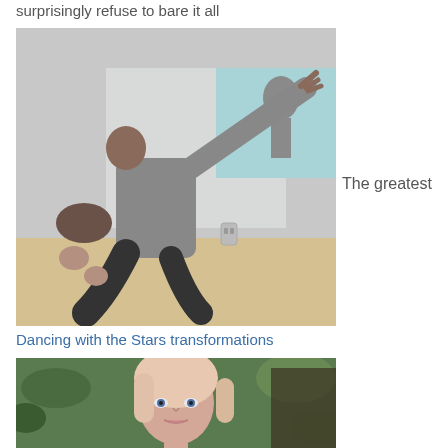surprisingly refuse to bare it all
[Figure (photo): Two people dancing together in a studio, one person in grey top and black pants performing a dramatic pose with arm extended]
The greatest
Dancing with the Stars transformations
[Figure (photo): Blonde woman with light pink hair standing in front of greenery]